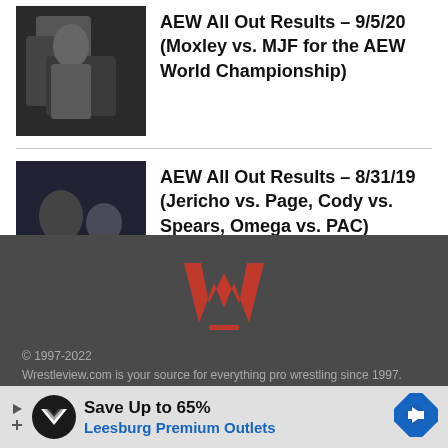[Figure (photo): Wrestling photo thumbnail for AEW All Out 9/5/20 article]
AEW All Out Results – 9/5/20 (Moxley vs. MJF for the AEW World Championship)
[Figure (photo): Wrestling photo thumbnail for AEW All Out 8/31/19 article]
AEW All Out Results – 8/31/19 (Jericho vs. Page, Cody vs. Spears, Omega vs. PAC)
[Figure (logo): Wrestleview.com red W logo]
© 1997-2022
Wrestleview.com is your source for everything pro wrestling since 1997. Daily updates with WWE News, TNA News, Indy News and the latest
[Figure (other): Advertisement: Save Up to 65% Leesburg Premium Outlets]